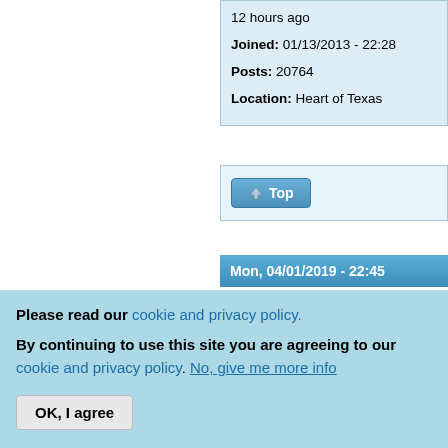12 hours ago
Joined: 01/13/2013 - 22:28
Posts: 20764
Location: Heart of Texas
Top
Mon, 04/01/2019 - 22:45
Ekstasis
Offline
Last seen: 7 months 2 weeks ago
Please read our cookie and privacy policy.
By continuing to use this site you are agreeing to our cookie and privacy policy. No, give me more info
OK, I agree